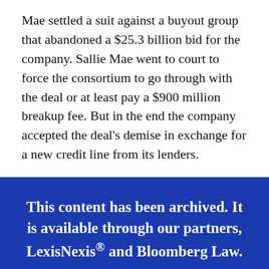Mae settled a suit against a buyout group that abandoned a $25.3 billion bid for the company. Sallie Mae went to court to force the consortium to go through with the deal or at least pay a $900 million breakup fee. But in the end the company accepted the deal's demise in exchange for a new credit line from its lenders.
This content has been archived. It is available through our partners, LexisNexis® and Bloomberg Law.
To view this content, please continue to their